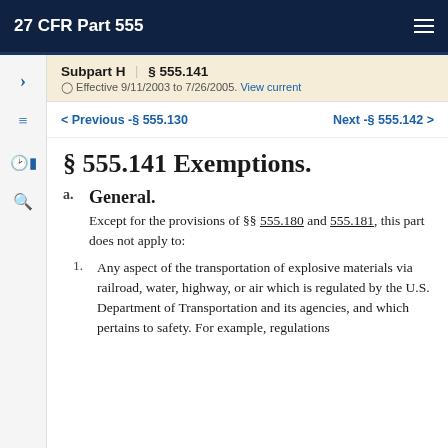27 CFR Part 555
Subpart H | § 555.141
Effective 9/11/2003 to 7/26/2005. View current
Previous -§ 555.130    Next -§ 555.142
§ 555.141 Exemptions.
a. General.
Except for the provisions of §§ 555.180 and 555.181, this part does not apply to:
1. Any aspect of the transportation of explosive materials via railroad, water, highway, or air which is regulated by the U.S. Department of Transportation and its agencies, and which pertains to safety. For example, regulations